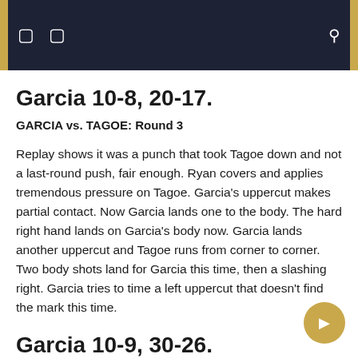navigation header bar with icons
Garcia 10-8, 20-17.
GARCIA vs. TAGOE: Round 3
Replay shows it was a punch that took Tagoe down and not a last-round push, fair enough. Ryan covers and applies tremendous pressure on Tagoe. Garcia's uppercut makes partial contact. Now Garcia lands one to the body. The hard right hand lands on Garcia's body now. Garcia lands another uppercut and Tagoe runs from corner to corner. Two body shots land for Garcia this time, then a slashing right. Garcia tries to time a left uppercut that doesn't find the mark this time.
Garcia 10-9, 30-26.
GARCIA vs. TAGOE: 4th round